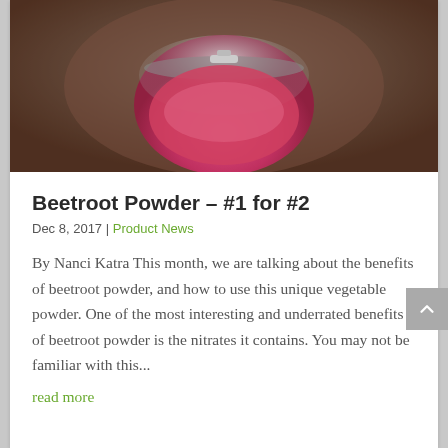[Figure (photo): Close-up photo of a glass jar with a metal clasp lid containing pink/red beetroot powder, viewed from above on a dark wooden surface.]
Beetroot Powder – #1 for #2
Dec 8, 2017 | Product News
By Nanci Katra This month, we are talking about the benefits of beetroot powder, and how to use this unique vegetable powder. One of the most interesting and underrated benefits of beetroot powder is the nitrates it contains. You may not be familiar with this...
read more